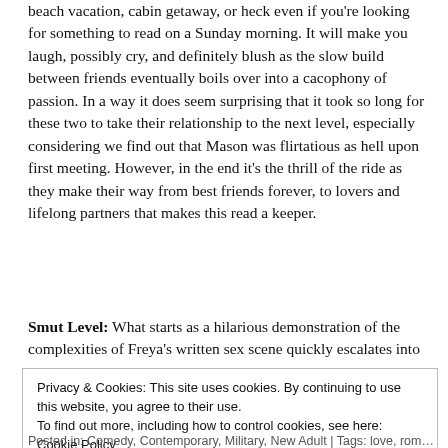beach vacation, cabin getaway, or heck even if you're looking for something to read on a Sunday morning. It will make you laugh, possibly cry, and definitely blush as the slow build between friends eventually boils over into a cacophony of passion. In a way it does seem surprising that it took so long for these two to take their relationship to the next level, especially considering we find out that Mason was flirtatious as hell upon first meeting. However, in the end it's the thrill of the ride as they make their way from best friends forever, to lovers and lifelong partners that makes this read a keeper.
Smut Level: What starts as a hilarious demonstration of the complexities of Freya's written sex scene quickly escalates into
Privacy & Cookies: This site uses cookies. By continuing to use this website, you agree to their use.
To find out more, including how to control cookies, see here: Cookie Policy
Close and accept
Posted in: Comedy, Contemporary, Military, New Adult | Tags: love, romance, ...